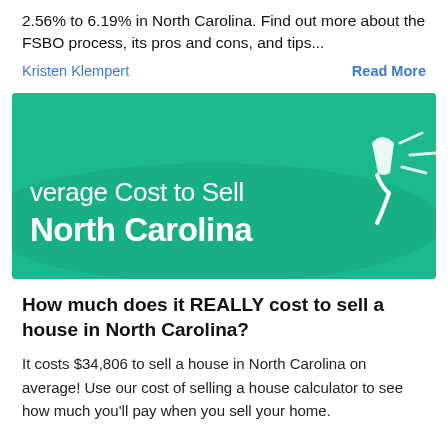2.56% to 6.19% in North Carolina. Find out more about the FSBO process, its pros and cons, and tips...
Kristen Klempert   Read More
[Figure (illustration): Green banner image with white text reading 'verage Cost to Sell North Carolina' and a white icon of a house/pin on the right side]
How much does it REALLY cost to sell a house in North Carolina?
It costs $34,806 to sell a house in North Carolina on average! Use our cost of selling a house calculator to see how much you'll pay when you sell your home.